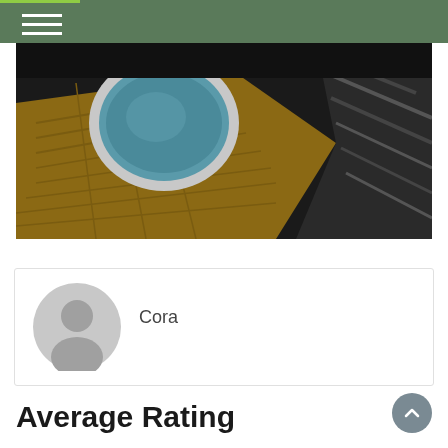[Figure (photo): Outdoor hot tub / jacuzzi embedded in a wooden deck platform, photographed at an angle showing the round tub with water, wood decking, and reflective surfaces in the background]
Cora
Average Rating